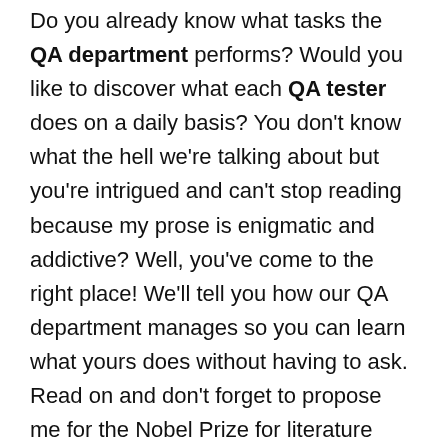Do you already know what tasks the QA department performs? Would you like to discover what each QA tester does on a daily basis? You don't know what the hell we're talking about but you're intrigued and can't stop reading because my prose is enigmatic and addictive? Well, you've come to the right place! We'll tell you how our QA department manages so you can learn what yours does without having to ask. Read on and don't forget to propose me for the Nobel Prize for literature when the time comes!